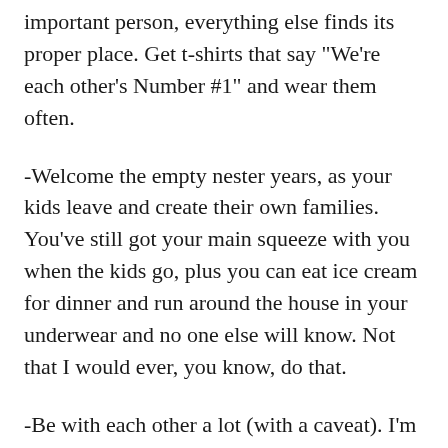important person, everything else finds its proper place. Get t-shirts that say "We're each other's Number #1" and wear them often.
-Welcome the empty nester years, as your kids leave and create their own families. You've still got your main squeeze with you when the kids go, plus you can eat ice cream for dinner and run around the house in your underwear and no one else will know. Not that I would ever, you know, do that.
-Be with each other a lot (with a caveat). I'm not a big one for PDAs, nor is hubs (we're Scottish) but we spend most evenings hip to hip on the couch, reading and watching police procedurals on Amazon Prime. The caveat-when either of you needs alone, friend or stamp-collecting time, grant it generously whenever